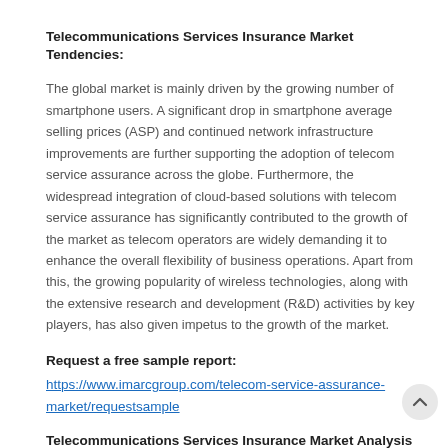Telecommunications Services Insurance Market Tendencies:
The global market is mainly driven by the growing number of smartphone users. A significant drop in smartphone average selling prices (ASP) and continued network infrastructure improvements are further supporting the adoption of telecom service assurance across the globe. Furthermore, the widespread integration of cloud-based solutions with telecom service assurance has significantly contributed to the growth of the market as telecom operators are widely demanding it to enhance the overall flexibility of business operations. Apart from this, the growing popularity of wireless technologies, along with the extensive research and development (R&D) activities by key players, has also given impetus to the growth of the market.
Request a free sample report:
https://www.imarcgroup.com/telecom-service-assurance-market/requestsample
Telecommunications Services Insurance Market Analysis and segmentation 2021-2026: